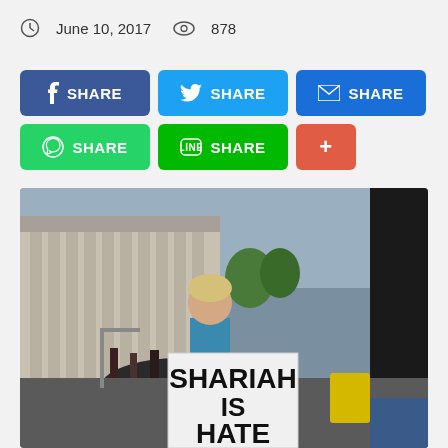June 10, 2017   878
[Figure (other): Social media share buttons: Facebook SHARE, Twitter SHARE, Email SHARE, WhatsApp SHARE, Line SHARE, and a + button]
[Figure (photo): A woman standing outdoors in front of a large neoclassical building, holding a sign that reads SHARIAH IS HATE]